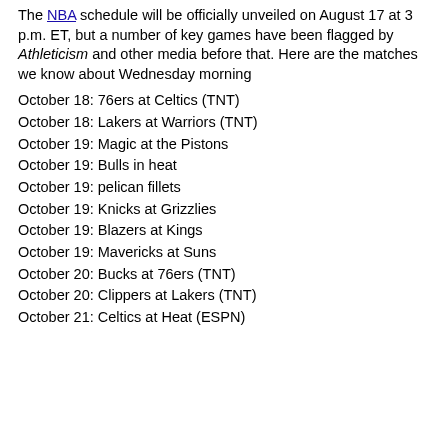The NBA schedule will be officially unveiled on August 17 at 3 p.m. ET, but a number of key games have been flagged by Athleticism and other media before that. Here are the matches we know about Wednesday morning
October 18: 76ers at Celtics (TNT)
October 18: Lakers at Warriors (TNT)
October 19: Magic at the Pistons
October 19: Bulls in heat
October 19: pelican fillets
October 19: Knicks at Grizzlies
October 19: Blazers at Kings
October 19: Mavericks at Suns
October 20: Bucks at 76ers (TNT)
October 20: Clippers at Lakers (TNT)
October 21: Celtics at Heat (ESPN)